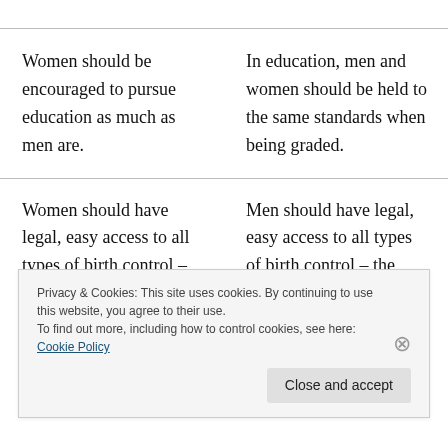Women should be encouraged to pursue education as much as men are.
In education, men and women should be held to the same standards when being graded.
Women should have legal, easy access to all types of birth control – including the morning after pill.
Men should have legal, easy access to all types of birth control – the research on the pill for men should be supported.
Privacy & Cookies: This site uses cookies. By continuing to use this website, you agree to their use.
To find out more, including how to control cookies, see here: Cookie Policy